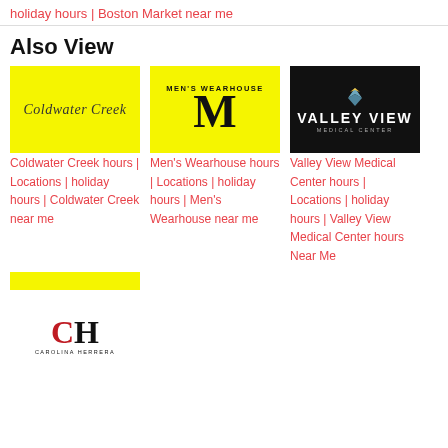holiday hours | Boston Market near me
Also View
[Figure (logo): Coldwater Creek logo on yellow background]
Coldwater Creek hours | Locations | holiday hours | Coldwater Creek near me
[Figure (logo): Men's Wearhouse logo on yellow background with large M]
Men's Wearhouse hours | Locations | holiday hours | Men's Wearhouse near me
[Figure (logo): Valley View Medical Center logo on black background]
Valley View Medical Center hours | Locations | holiday hours | Valley View Medical Center hours Near Me
[Figure (logo): Carolina Herrera CH logo with yellow top stripe]